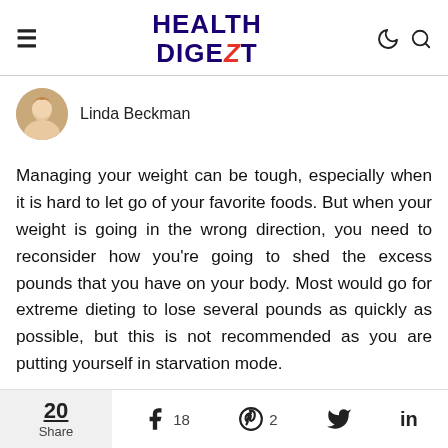HEALTH DIGEZT
Linda Beckman
Managing your weight can be tough, especially when it is hard to let go of your favorite foods. But when your weight is going in the wrong direction, you need to reconsider how you're going to shed the excess pounds that you have on your body. Most would go for extreme dieting to lose several pounds as quickly as possible, but this is not recommended as you are putting yourself in starvation mode.
- Advertisements -
20 Share  18  2  [Twitter]  in